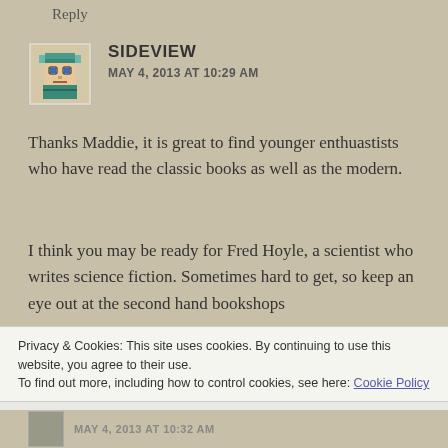Reply
[Figure (illustration): Pixel art avatar of a character in viking/warrior helmet in blue-green colors]
SIDEVIEW
MAY 4, 2013 AT 10:29 AM
Thanks Maddie, it is great to find younger enthuastists who have read the classic books as well as the modern.
I think you may be ready for Fred Hoyle, a scientist who writes science fiction. Sometimes hard to get, so keep an eye out at the second hand bookshops
Privacy & Cookies: This site uses cookies. By continuing to use this website, you agree to their use.
To find out more, including how to control cookies, see here: Cookie Policy
Close and accept
MAY 4, 2013 AT 10:32 AM